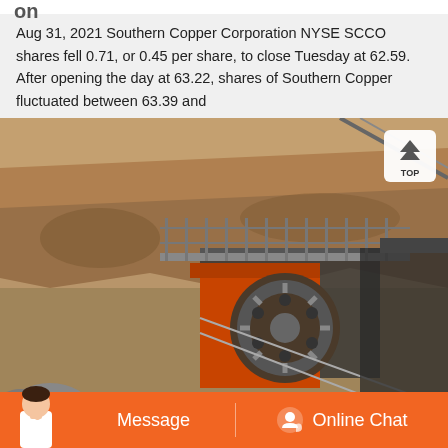Aug 31, 2021 Southern Copper Corporation NYSE SCCO shares fell 0.71, or 0.45 per share, to close Tuesday at 62.59. After opening the day at 63.22, shares of Southern Copper fluctuated between 63.39 and
[Figure (photo): Photo of an open-pit copper mine showing rocky terrain, a large orange industrial crushing machine with a prominent flywheel, metal grating walkways, pipes, and cables. A 'TOP' navigation button overlay is visible in the upper right of the image.]